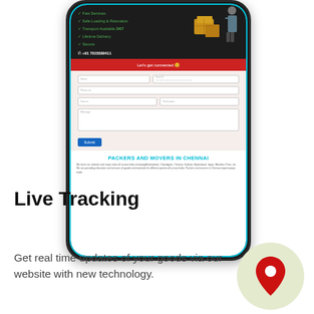[Figure (screenshot): A smartphone displaying a Packers and Movers website in Chennai. The screen shows a dark header with checklist items (Fast Services, Safe Loading & Relocation, Transport Available 24/7, Lifetime Delivery, Secure), a phone number +91 7015580411, a red 'Let's get connected' banner, a contact form with fields for Name, Email, Phone No, Source, Destination, and Message, a Submit button, and a section titled 'PACKERS AND MOVERS IN CHENNAI' with descriptive text. The phone has a teal/cyan border.]
Live Tracking
Get real time updates of your goods via our website with new technology.
[Figure (illustration): A circular light green/beige badge containing a red map location pin icon, representing live tracking feature.]